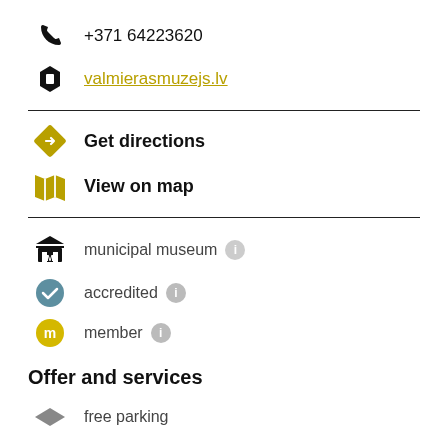+371 64223620
valmierasmuzejs.lv
Get directions
View on map
municipal museum
accredited
member
Offer and services
free parking